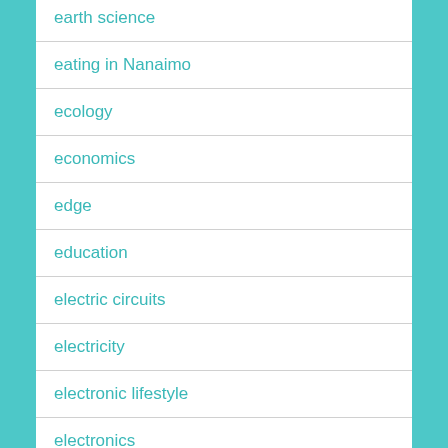earth science
eating in Nanaimo
ecology
economics
edge
education
electric circuits
electricity
electronic lifestyle
electronics
email
email programs